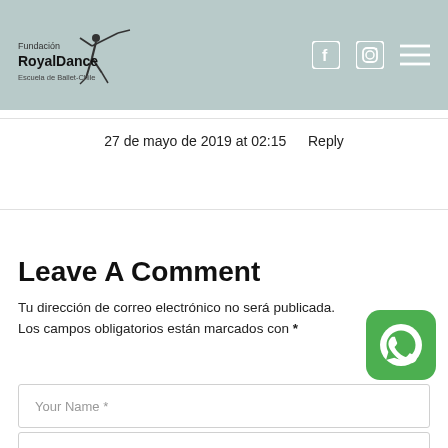Fundación RoyalDance Escuela de Ballet-Chile
27 de mayo de 2019 at 02:15   Reply
Leave A Comment
Tu dirección de correo electrónico no será publicada. Los campos obligatorios están marcados con *
[Figure (logo): WhatsApp green icon]
Your Name *